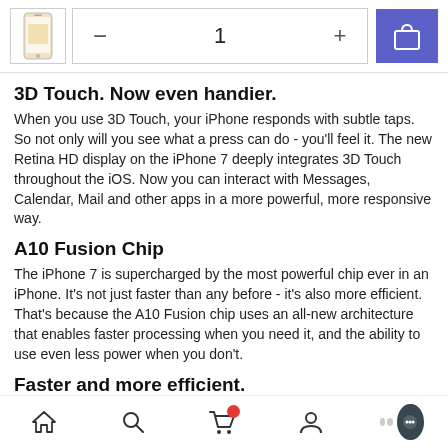[Figure (screenshot): Product thumbnail image of iPhone in gold color, quantity selector with minus and 1 and plus, and blue shopping bag button]
3D Touch. Now even handier.
When you use 3D Touch, your iPhone responds with subtle taps. So not only will you see what a press can do - you'll feel it. The new Retina HD display on the iPhone 7 deeply integrates 3D Touch throughout the iOS. Now you can interact with Messages, Calendar, Mail and other apps in a more powerful, more responsive way.
A10 Fusion Chip
The iPhone 7 is supercharged by the most powerful chip ever in an iPhone. It's not just faster than any before - it's also more efficient. That's because the A10 Fusion chip uses an all-new architecture that enables faster processing when you need it, and the ability to use even less power when you don't.
Faster and more efficient.
With an all-new four-core design, the A10 Fusion chip's CPU has two high-performance cores and two high-efficiency cores
[Figure (screenshot): Bottom navigation bar with home, search, cart (with red notification badge), account, and chat bubble icons]